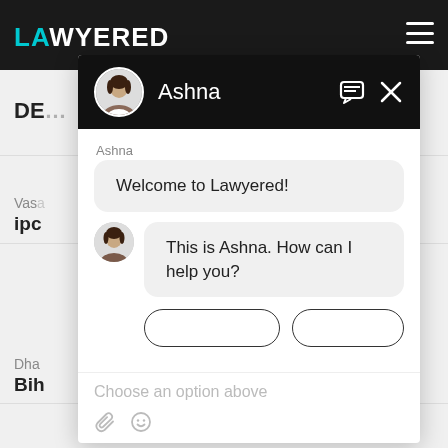[Figure (screenshot): Screenshot of a legal services website 'Lawyered' with a chat widget overlay. The chat widget shows a conversation with an agent named 'Ashna'. The widget header is black with a profile photo and name 'Ashna'. The chat messages show 'Welcome to Lawyered!' and 'This is Ashna. How can I help you?' with button options and an input area with placeholder 'Choose an option above'.]